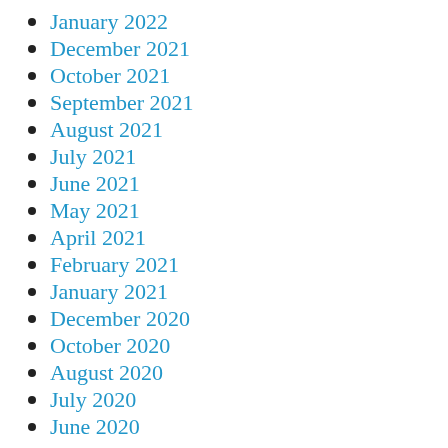January 2022
December 2021
October 2021
September 2021
August 2021
July 2021
June 2021
May 2021
April 2021
February 2021
January 2021
December 2020
October 2020
August 2020
July 2020
June 2020